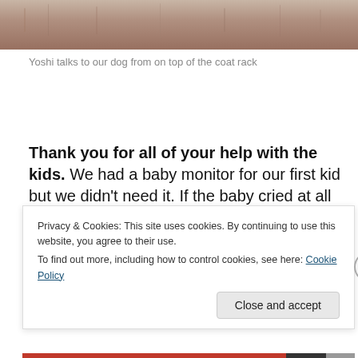[Figure (photo): Close-up photo of an animal (likely a cat or similar pet), showing fur texture. This is the bottom portion of a larger image.]
Yoshi talks to our dog from on top of the coat rack
Thank you for all of your help with the kids. We had a baby monitor for our first kid but we didn't need it. If the baby cried at all in the nighttime, Yoshi would come into the master bedroom and wake us up. He would poke and howl until a parent got up and then he would follow us to
Privacy & Cookies: This site uses cookies. By continuing to use this website, you agree to their use.
To find out more, including how to control cookies, see here: Cookie Policy
Close and accept